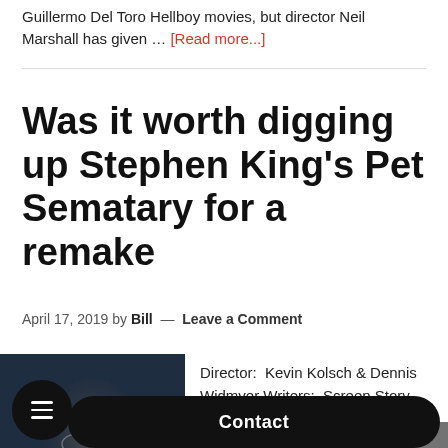Guillermo Del Toro Hellboy movies, but director Neil Marshall has given … [Read more...]
Was it worth digging up Stephen King's Pet Sematary for a remake
April 17, 2019 by Bill — Leave a Comment
[Figure (photo): Pet Sematary movie poster showing a man with glasses in a dark, atmospheric style with red title bar at top left]
Director:  Kevin Kolsch & Dennis Widmyer Writers:  Screen Story, Matt Greenberg; Screenplay, Jeff Seimetz; John Lithgow; Jete